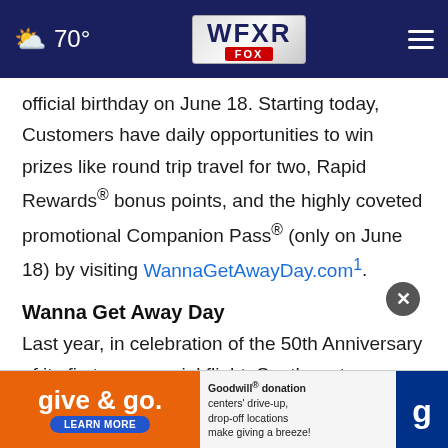70° WFXR FOX
official birthday on June 18. Starting today, Customers have daily opportunities to win prizes like round trip travel for two, Rapid Rewards® bonus points, and the highly coveted promotional Companion Pass® (only on June 18) by visiting WannaGetAwayDay.com1.
Wanna Get Away Day
Last year, in celebration of the 50th Anniversary of its first commercial flight, Southwest declared... nd
[Figure (screenshot): Advertisement banner: Goodwill 'give & go.' with orange background, Learn More button, and Goodwill logo]